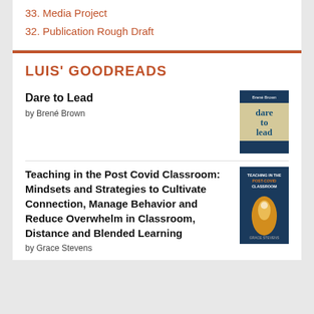33. Media Project
32. Publication Rough Draft
LUIS' GOODREADS
Dare to Lead
by Brené Brown
[Figure (illustration): Book cover of Dare to Lead by Brené Brown]
Teaching in the Post Covid Classroom: Mindsets and Strategies to Cultivate Connection, Manage Behavior and Reduce Overwhelm in Classroom, Distance and Blended Learning
by Grace Stevens
[Figure (illustration): Book cover of Teaching in the Post Covid Classroom by Grace Stevens]